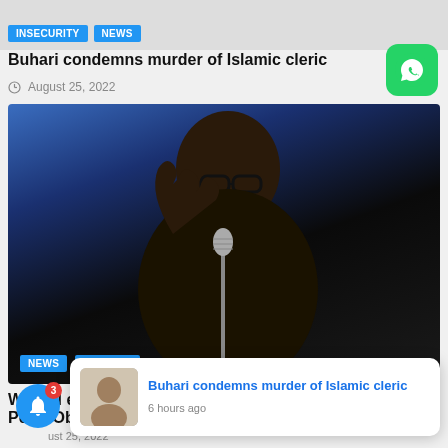[Figure (screenshot): Top cropped image strip with Insecurity and NEWS tags]
Buhari condemns murder of Islamic cleric
August 25, 2022
[Figure (photo): Photo of Peter Obi speaking at a podium with raised fist, wearing glasses and dark attire. NEWS and POLITICS tags visible at bottom.]
We will ensure... Peter Obi
August 25, 2022
[Figure (screenshot): Popup notification showing thumbnail of a person and text: Buhari condemns murder of Islamic cleric, 6 hours ago]